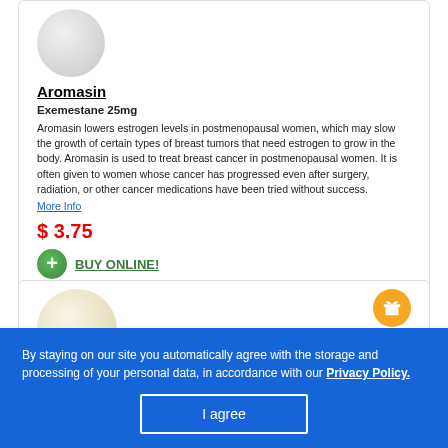[Figure (photo): White round pill/tablet image for Aromasin]
Aromasin
Exemestane 25mg
Aromasin lowers estrogen levels in postmenopausal women, which may slow the growth of certain types of breast tumors that need estrogen to grow in the body. Aromasin is used to treat breast cancer in postmenopausal women. It is often given to women whose cancer has progressed even after surgery, radiation, or other cancer medications have been tried without success.
More Info
$ 3.75
BUY ONLINE!
[Figure (photo): Cream/beige round pill/tablet image for Casodex]
[Figure (other): Orange gift icon circle]
Casodex
By staying on our site you automatically agree with the storage and processing of your personal data, in accordance with our Privacy Policy.
I agree